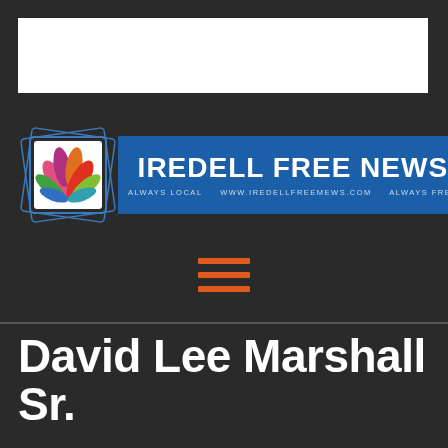[Figure (logo): Iredell Free News logo with colorful leaf icon and blue banner reading IREDELL FREE NEWS. Tagline: ALWAYS LOCAL   WWW.IREDELLFREEMEWS.COM   ALWAYS FREE]
David Lee Marshall Sr.